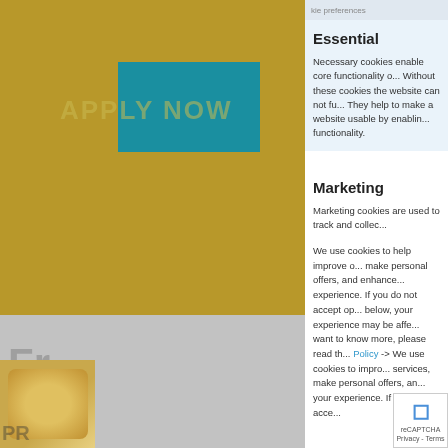[Figure (screenshot): Background website screenshot showing gold/olive header area with teal rectangle, 'APPLY NOW' text, a greyed-out blog section, and food image, partially obscured by cookie consent modal overlay.]
Essential
Necessary cookies enable core functionality o... Without these cookies the website can not fu... They help to make a website usable by enablin... functionality.
Marketing
Marketing cookies are used to track and collec...
We use cookies to help improve o... make personal offers, and enhance... experience. If you do not accept op... below, your experience may be affe... want to know more, please read th... Policy -> We use cookies to impro... services, make personal offers, an... your experience. If you do not acce...